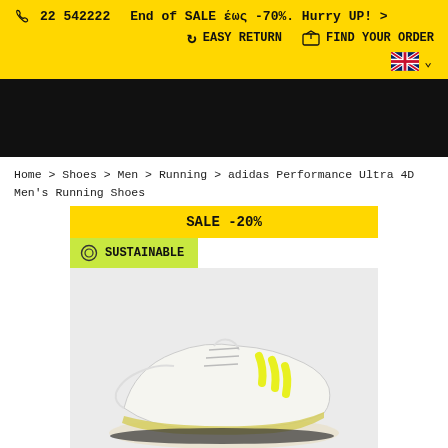☏ 22 542222   End of SALE έως -70%. Hurry UP! >   ↺ EASY RETURN   📦 FIND YOUR ORDER   🇬🇧 ∨
[Figure (photo): Black navigation/banner bar]
Home > Shoes > Men > Running > adidas Performance Ultra 4D Men's Running Shoes
SALE -20%
◯ SUSTAINABLE
[Figure (photo): adidas Performance Ultra 4D Men's Running Shoes — white sneaker with yellow stripes and yellow lattice midsole on light grey background]